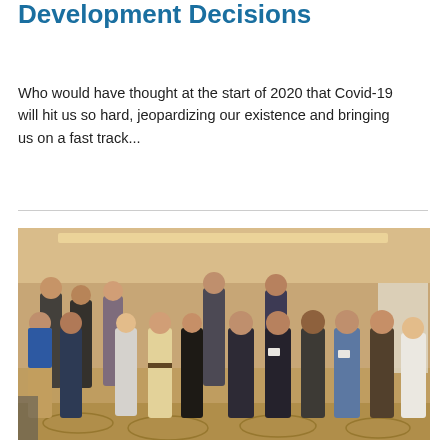Development Decisions
Who would have thought at the start of 2020 that Covid-19 will hit us so hard, jeopardizing our existence and bringing us on a fast track...
[Figure (photo): Group photo of approximately 14 people standing together in a hotel conference room or banquet hall, posed for a formal group photograph.]